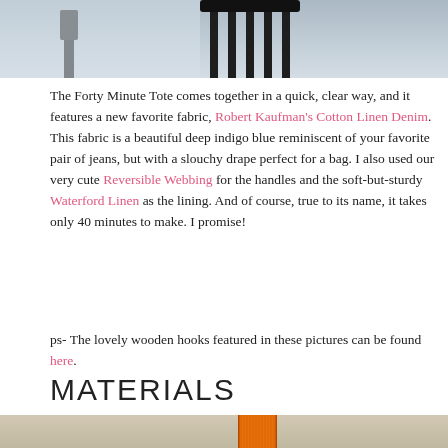[Figure (photo): Top portion of photo showing dark chair or wooden hooks against a light background, cropped at top of page]
The Forty Minute Tote comes together in a quick, clear way, and it features a new favorite fabric, Robert Kaufman's Cotton Linen Denim. This fabric is a beautiful deep indigo blue reminiscent of your favorite pair of jeans, but with a slouchy drape perfect for a bag. I also used our very cute Reversible Webbing for the handles and the soft-but-sturdy Waterford Linen as the lining. And of course, true to its name, it takes only 40 minutes to make. I promise!
ps- The lovely wooden hooks featured in these pictures can be found here.
MATERIALS
[Figure (photo): Photo showing orange webbing strap on a linen/neutral fabric background]